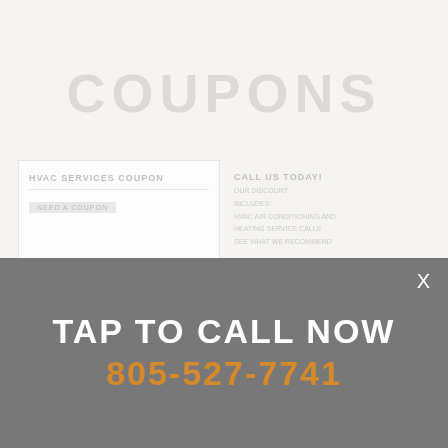[Figure (screenshot): Faded/watermarked coupons webpage screenshot showing 'COUPONS' heading and two partially visible coupon offer blocks, very light and washed out]
X
TAP TO CALL NOW
805-527-7741